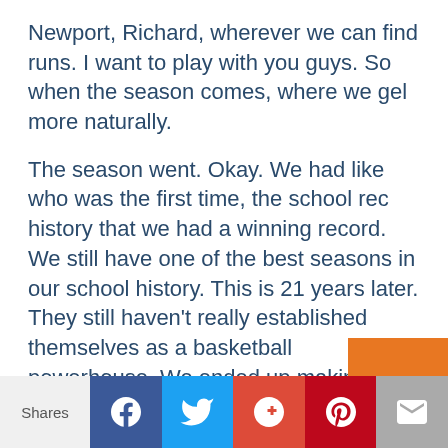Newport, Richard, wherever we can find runs. I want to play with you guys. So when the season comes, where we gel more naturally.
The season went. Okay. We had like who was the first time, the school rec history that we had a winning record. We still have one of the best seasons in our school history. This is 21 years later. They still haven't really established themselves as a basketball powerhouse. We ended up making it to the district finals, which was big for us.
And, and to the state playoffs first time
Shares [Facebook] [Twitter] [Google+] [Pinterest] [Email]